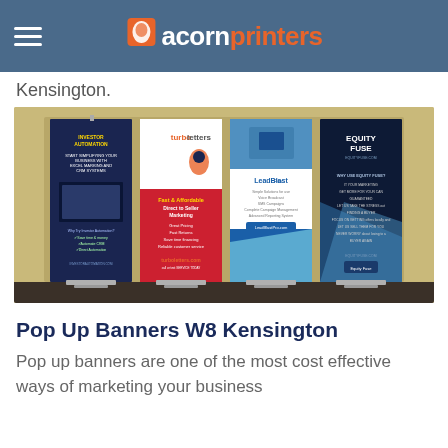acornprinters
Kensington.
[Figure (photo): Four pull-up/pop-up display banners standing in a row: Investor Automation (dark blue), TurboLetters (white and red), LeadBlastPro (light blue and white), and Equity Fuse (dark navy with blue accent).]
Pop Up Banners W8 Kensington
Pop up banners are one of the most cost effective ways of marketing your business